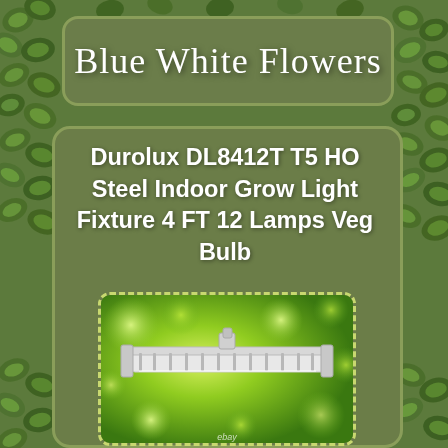[Figure (photo): Green ivy/leaf background covering the full page]
Blue White Flowers
Durolux DL8412T T5 HO Steel Indoor Grow Light Fixture 4 FT 12 Lamps Veg Bulb
[Figure (photo): Product photo of a Durolux T5 HO grow light fixture, white multi-tube fluorescent light bar, on a green bokeh background with eBay watermark]